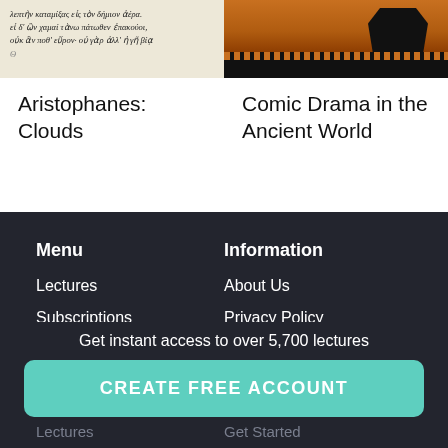[Figure (photo): Scanned manuscript page with Greek italic text]
[Figure (photo): Ancient Greek red-figure vase painting with geometric border pattern]
Aristophanes: Clouds
Comic Drama in the Ancient World
Menu
Lectures
Subscriptions
Request Free Trial
Information
About Us
Privacy Policy
Support Guide
Get instant access to over 5,700 lectures
CREATE FREE ACCOUNT
Lectures
Get Started